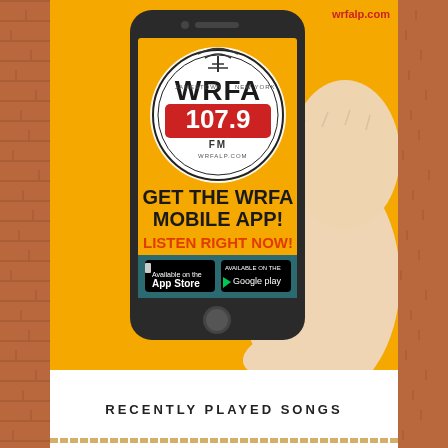[Figure (illustration): WRFA LP 107.9 FM radio station mobile app advertisement. Yellow background with a hand holding a smartphone displaying the WRFA 107.9 FM logo. Text on phone screen: GET THE WRFA MOBILE APP! LISTEN RIGHT NOW! App Store and Google Play download badges. wrfalp.com URL in red top right corner.]
RECENTLY PLAYED SONGS